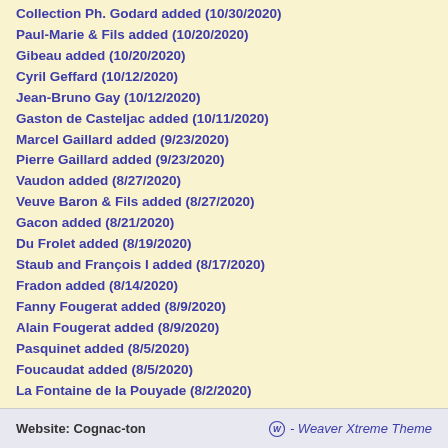Collection Ph. Godard added (10/30/2020)
Paul-Marie & Fils added (10/20/2020)
Gibeau added (10/20/2020)
Cyril Geffard (10/12/2020)
Jean-Bruno Gay (10/12/2020)
Gaston de Casteljac added (10/11/2020)
Marcel Gaillard added (9/23/2020)
Pierre Gaillard added (9/23/2020)
Vaudon added (8/27/2020)
Veuve Baron & Fils added (8/27/2020)
Gacon added (8/21/2020)
Du Frolet added (8/19/2020)
Staub and François I added (8/17/2020)
Fradon added (8/14/2020)
Fanny Fougerat added (8/9/2020)
Alain Fougerat added (8/9/2020)
Pasquinet added (8/5/2020)
Foucaudat added (8/5/2020)
La Fontaine de la Pouyade (8/2/2020)
>>> Archive of earlier added pages
Website: Cognac-ton   - Weaver Xtreme Theme